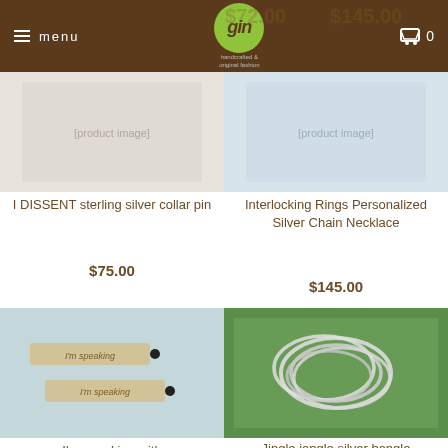menu | gin logo | 0
$72.00
$145.00
[Figure (photo): Product image placeholder for I DISSENT sterling silver collar pin]
I DISSENT sterling silver collar pin
$75.00
[Figure (photo): Product image placeholder for Interlocking Rings Personalized Silver Chain Necklace]
Interlocking Rings Personalized Silver Chain Necklace
$145.00
[Figure (photo): Photo of bar necklaces saying 'I'm speaking' on light blue background]
I'm speaking with
[Figure (photo): Photo of jingle jangle silver bangles on green grass background]
Jingle jangle silver bangle